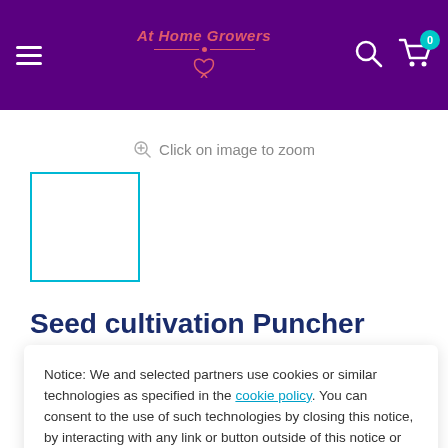At Home Growers — navigation header with hamburger menu, logo, search icon, and cart (0)
Click on image to zoom
[Figure (photo): Product thumbnail placeholder — empty white box with teal border]
Seed cultivation Puncher Garden
Notice: We and selected partners use cookies or similar technologies as specified in the cookie policy. You can consent to the use of such technologies by closing this notice, by interacting with any link or button outside of this notice or by continuing to browse.
Accept